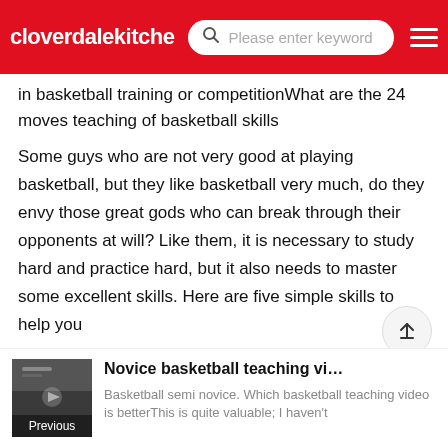cloverdalekitche… | Please enter keyword
in basketball training or competitionWhat are the 24 moves teaching of basketball skills
Some guys who are not very good at playing basketball, but they like basketball very much, do they envy those great gods who can break through their opponents at will? Like them, it is necessary to study hard and practice hard, but it also needs to master some excellent skills. Here are five simple skills to help you
Basketball teaching Chinese the key to basketball teaching is not speed
Novice basketball teaching video basketba…
Basketball semi novice. Which basketball teaching video is betterThis is quite valuable; I haven't